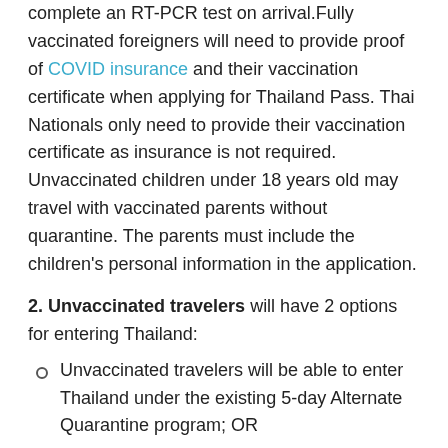complete an RT-PCR test on arrival.Fully vaccinated foreigners will need to provide proof of COVID insurance and their vaccination certificate when applying for Thailand Pass. Thai Nationals only need to provide their vaccination certificate as insurance is not required. Unvaccinated children under 18 years old may travel with vaccinated parents without quarantine. The parents must include the children's personal information in the application.
2. Unvaccinated travelers will have 2 options for entering Thailand:
Unvaccinated travelers will be able to enter Thailand under the existing 5-day Alternate Quarantine program; OR
Unvaccinated travelers will be able to enter the No Quarantine program by completing an RT-PCR test and uploading the result into their Thai Pass